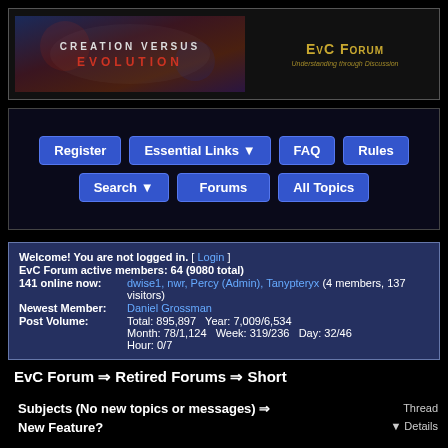EvC Forum — Understanding through Discussion
Register | Essential Links | FAQ | Rules | Search | Forums | All Topics
Welcome! You are not logged in. [ Login ]
EvC Forum active members: 64 (9080 total)
141 online now: dwise1, nwr, Percy (Admin), Tanypteryx (4 members, 137 visitors)
Newest Member: Daniel Grossman
Post Volume: Total: 895,897   Year: 7,009/6,534
Month: 78/1,124   Week: 319/236   Day: 32/46
Hour: 0/7
EvC Forum ⇒ Retired Forums ⇒ Short
Subjects (No new topics or messages) ⇒ New Feature?
Thread Details